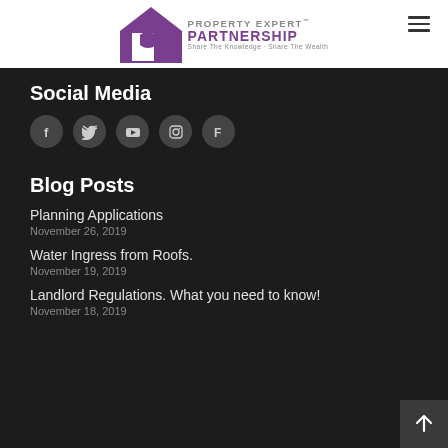[Figure (logo): Property Expert Partnership logo with house icon and tagline 'Share The Knowledge · Share The Wealth']
Social Media
[Figure (illustration): Social media icons: Facebook, Twitter, YouTube, Instagram, Foursquare — circular dark buttons]
Blog Posts
Planning Applications
November 26, 2019
Water Ingress from Roofs.
November 19, 2019
Landlord Regulations. What you need to know!
November 18, 2019